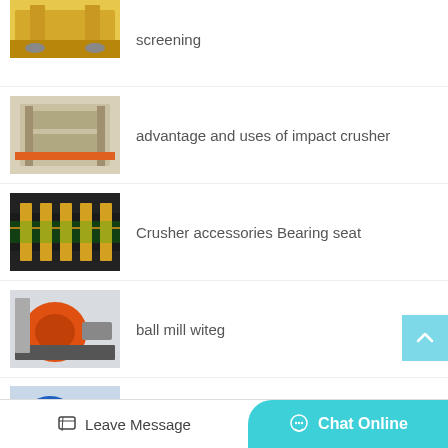screening
advantage and uses of impact crusher
Crusher accessories Bearing seat
ball mill witeg
take sand gravel clay and loamy soil and put them in pots and
Leave Message  Chat Online